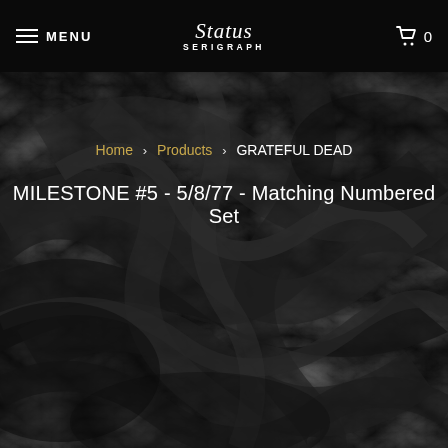MENU | Status Serigraph | 0
[Figure (photo): Dark swirling marble texture background in shades of black and dark grey]
Home > Products > GRATEFUL DEAD
MILESTONE #5 - 5/8/77 - Matching Numbered Set